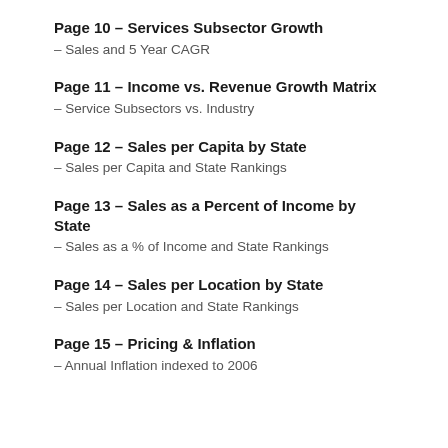Page 10 – Services Subsector Growth
– Sales and 5 Year CAGR
Page 11 – Income vs. Revenue Growth Matrix
– Service Subsectors vs. Industry
Page 12 – Sales per Capita by State
– Sales per Capita and State Rankings
Page 13 – Sales as a Percent of Income by State
– Sales as a % of Income and State Rankings
Page 14 – Sales per Location by State
– Sales per Location and State Rankings
Page 15 – Pricing & Inflation
– Annual Inflation indexed to 2006